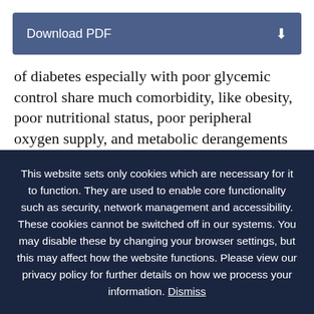[Figure (other): Download PDF button bar with download icon]
of diabetes especially with poor glycemic control share much comorbidity, like obesity, poor nutritional status, poor peripheral oxygen supply, and metabolic derangements [3]. Obesity is an uncertain risk factor for SSI in gynecological surgeries [4]. It has been shown in one study that rather than obesity, subcutaneous thickness
This website sets only cookies which are necessary for it to function. They are used to enable core functionality such as security, network management and accessibility. These cookies cannot be switched off in our systems. You may disable these by changing your browser settings, but this may affect how the website functions. Please view our privacy policy for further details on how we process your information. Dismiss